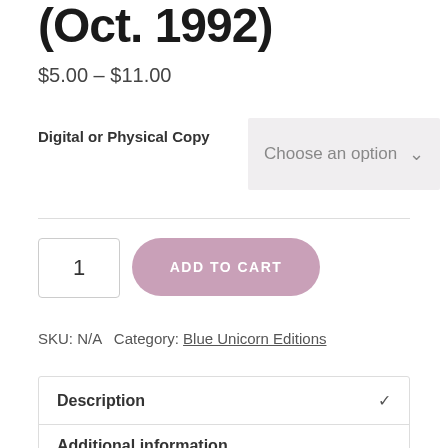(Oct. 1992)
$5.00 – $11.00
Digital or Physical Copy
Choose an option
1
ADD TO CART
SKU: N/A  Category: Blue Unicorn Editions
Description
Additional information